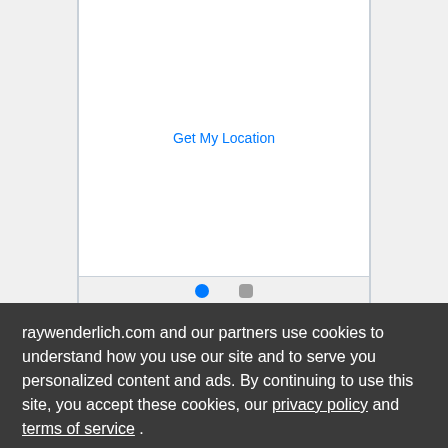[Figure (screenshot): Mobile app screenshot showing 'Get My Location' button in blue text, with two pagination dots (blue circle and gray square) at the bottom]
You're reading for free, with parts of this chapter shown as slnoccleq text. Unlock this book, and our entire
raywenderlich.com and our partners use cookies to understand how you use our site and to serve you personalized content and ads. By continuing to use this site, you accept these cookies, our privacy policy and terms of service .
OK ✓   Manage privacy settings